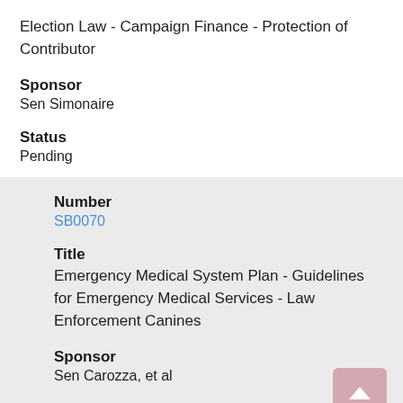Election Law - Campaign Finance - Protection of Contributor
Sponsor
Sen Simonaire
Status
Pending
Number
SB0070
Title
Emergency Medical System Plan - Guidelines for Emergency Medical Services - Law Enforcement Canines
Sponsor
Sen Carozza, et al
Status